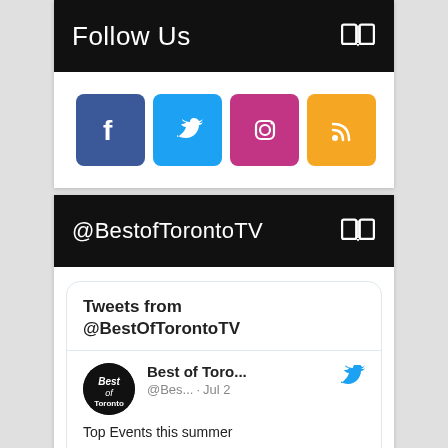Follow Us
[Figure (infographic): Social media icons: Facebook (blue), Twitter (blue), Instagram (pink/magenta), RSS (orange)]
@BestofTorontoTV
Tweets from @BestOfTorontoTV
Best of Toro... @Bes... · Jul 2
Top Events this summer
bestoftoronto.net/2022/07/top-ev...